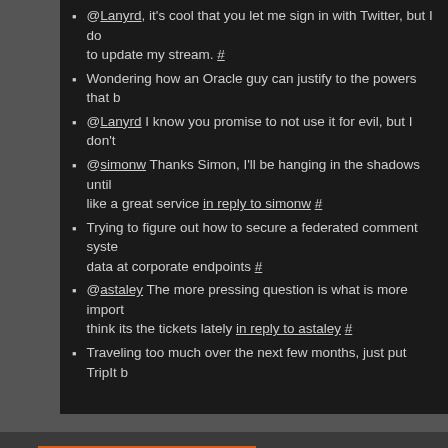@Lanyrd, it's cool that you let me sign in with Twitter, but I do to update my stream. #
Wondering how an Oracle guy can justify to the powers that b
@Lanyrd I know you promise to not use it for evil, but I don't
@simonw Thanks Simon, I'll be hanging in the shadows until like a great service in reply to simonw #
Trying to figure out how to secure a federated comment syste data at corporate endpoints #
@astaley The more pressing question is what is more import think its the tickets lately in reply to astaley #
Traveling too much over the next few months, just put TripIt b
Posted by Topper on 12/5/2010
Twitter Updates for the Week of 20
Posted in: Personal. Leave a Comment